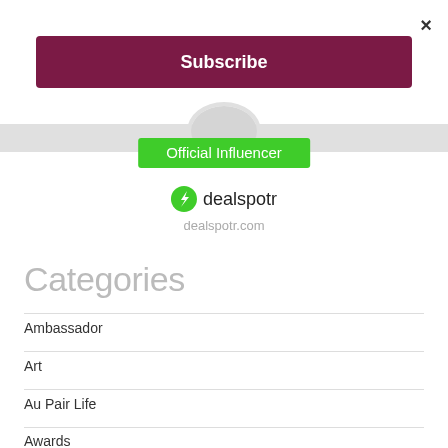×
Subscribe
[Figure (logo): Dealspotr Official Influencer badge with green background and white text, below a gray circular avatar area. Includes dealspotr logo with lightning bolt icon and site URL dealspotr.com]
Categories
Ambassador
Art
Au Pair Life
Awards